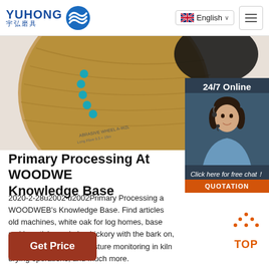YUHONG 宇弘磨具 — English navigation bar with hamburger menu
[Figure (photo): Partial view of an abrasive grinding disc (cut-off wheel) with labels showing MAX SPEED and MADE IN GERMANY, alongside a 24/7 Online customer service representative photo with chat widget]
Primary Processing At WOODWE Knowledge Base
2020-2-28u2002·u2002Primary Processing at WOODWEB's Knowledge Base. Find articles old machines, white oak for log homes, base making stickers, drying hickory with the bark on, controlling checking, moisture monitoring in kiln drying operations, and much more.
Get Price